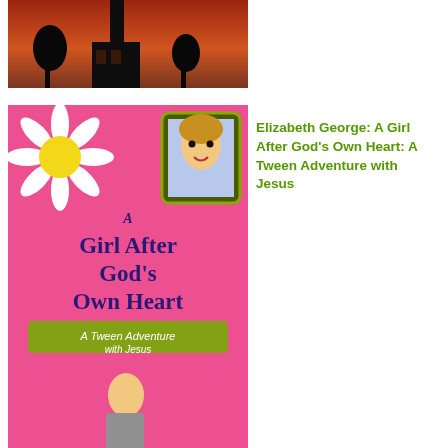[Figure (photo): Book cover showing a church silhouette against an orange sky]
[Figure (photo): Book cover: A Girl After God's Own Heart: A Tween Adventure with Jesus by Elizabeth George — pink background with daisy and girl's photo]
Elizabeth George: A Girl After God's Own Heart: A Tween Adventure with Jesus
[Figure (photo): Book cover: Preparing for Adolescence by Dr. James Dobson — red cover with a sneaker]
Dr. James Dobson Ph.D: Preparing for Adolescence: How to Survive the Coming Years of Change